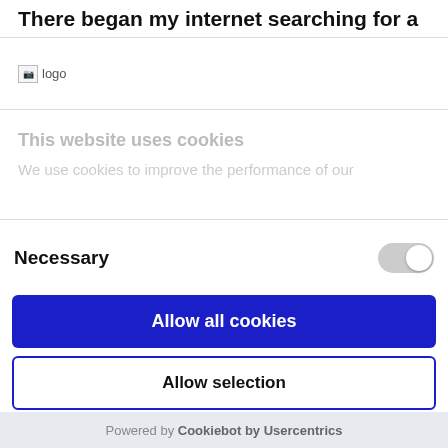There began my internet searching for a
[Figure (logo): Broken image icon labeled 'logo']
This website uses cookies
We use cookies to improve the performance of our
Necessary
Allow all cookies
Allow selection
Use necessary cookies only
Powered by Cookiebot by Usercentrics